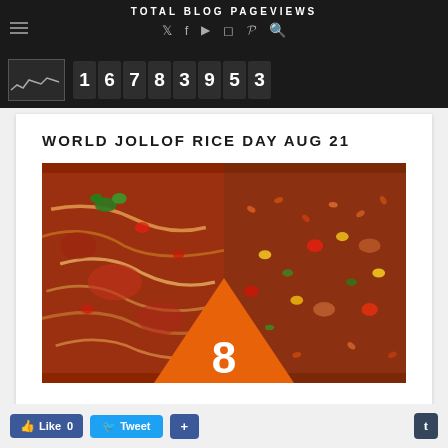TOTAL BLOG PAGEVIEWS
[Figure (screenshot): Blog pageview counter showing number 16783953 with a small line chart thumbnail on the left, set against a dark background with social media icons (Twitter, Facebook, YouTube, Instagram, Pinterest, Search)]
WORLD JOLLOF RICE DAY AUG 21
[Figure (photo): Two food photos side by side: left shows spaghetti/noodles with tomato sauce and green herb garnish, right shows jollof rice with vegetables and sausage. An orange triangle with the number 8 overlays the bottom center of both images.]
Like 0   Tweet   +   t